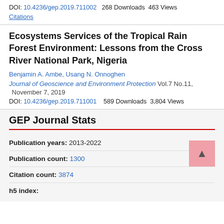DOI: 10.4236/gep.2019.711002   268 Downloads  463 Views
Citations
Ecosystems Services of the Tropical Rain Forest Environment: Lessons from the Cross River National Park, Nigeria
Benjamin A. Ambe, Usang N. Onnoghen
Journal of Geoscience and Environment Protection Vol.7 No.11, November 7, 2019
DOI: 10.4236/gep.2019.711001   589 Downloads  3,804 Views
GEP Journal Stats
Publication years: 2013-2022
Publication count: 1300
Citation count: 3874
h5 index: